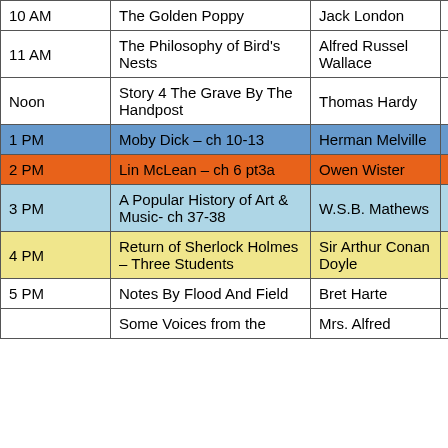| Time | Title | Author | Duration |
| --- | --- | --- | --- |
| 10 AM | The Golden Poppy | Jack London | 26:01 |
| 11 AM | The Philosophy of Bird's Nests | Alfred Russel Wallace | 34:35 |
| Noon | Story 4 The Grave By The Handpost | Thomas Hardy | 27:34 |
| 1 PM | Moby Dick – ch 10-13 | Herman Melville | 29:16 |
| 2 PM | Lin McLean – ch 6 pt3a | Owen Wister | 36:27 |
| 3 PM | A Popular History of Art & Music- ch 37-38 | W.S.B. Mathews | 37:02 |
| 4 PM | Return of Sherlock Holmes – Three Students | Sir Arthur Conan Doyle | 34:26 |
| 5 PM | Notes By Flood And Field | Bret Harte | 32:01 |
|  | Some Voices from the | Mrs. Alfred |  |